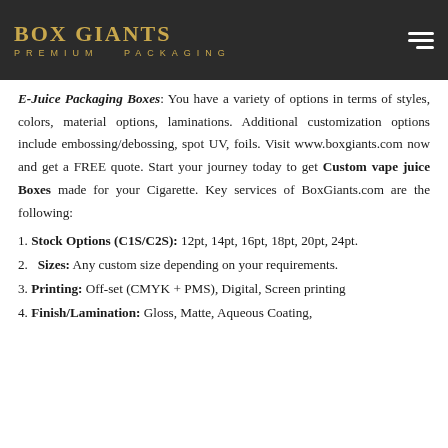BOX GIANTS PREMIUM PACKAGING
E-Juice Packaging Boxes: You have a variety of options in terms of styles, colors, material options, laminations. Additional customization options include embossing/debossing, spot UV, foils. Visit www.boxgiants.com now and get a FREE quote. Start your journey today to get Custom vape juice Boxes made for your Cigarette. Key services of BoxGiants.com are the following:
1. Stock Options (C1S/C2S): 12pt, 14pt, 16pt, 18pt, 20pt, 24pt.
2. Sizes: Any custom size depending on your requirements.
3. Printing: Off-set (CMYK + PMS), Digital, Screen printing
4. Finish/Lamination: Gloss, Matte, Aqueous Coating,